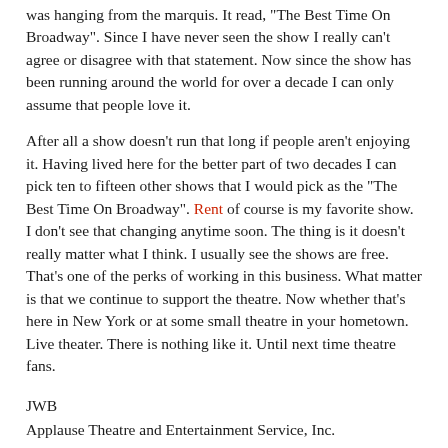was hanging from the marquis. It read, "The Best Time On Broadway". Since I have never seen the show I really can't agree or disagree with that statement. Now since the show has been running around the world for over a decade I can only assume that people love it.
After all a show doesn't run that long if people aren't enjoying it. Having lived here for the better part of two decades I can pick ten to fifteen other shows that I would pick as the "The Best Time On Broadway". Rent of course is my favorite show. I don't see that changing anytime soon. The thing is it doesn't really matter what I think. I usually see the shows are free. That's one of the perks of working in this business. What matter is that we continue to support the theatre. Now whether that's here in New York or at some small theatre in your hometown. Live theater. There is nothing like it. Until next time theatre fans.
JWB
Applause Theatre and Entertainment Service, Inc.
311 West 43rd Street
Suite 1105
New York,NY 10036